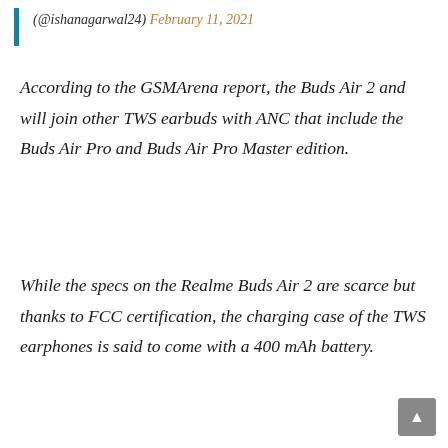(@ishanagarwal24) February 11, 2021
According to the GSMArena report, the Buds Air 2 and will join other TWS earbuds with ANC that include the Buds Air Pro and Buds Air Pro Master edition.
While the specs on the Realme Buds Air 2 are scarce but thanks to FCC certification, the charging case of the TWS earphones is said to come with a 400 mAh battery.